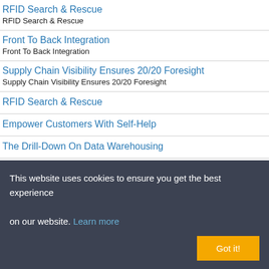RFID Search & Rescue
RFID Search & Rescue
Front To Back Integration
Front To Back Integration
Supply Chain Visibility Ensures 20/20 Foresight
Supply Chain Visibility Ensures 20/20 Foresight
RFID Search & Rescue
Empower Customers With Self-Help
The Drill-Down On Data Warehousing
This website uses cookies to ensure you get the best experience on our website. Learn more
Got it!